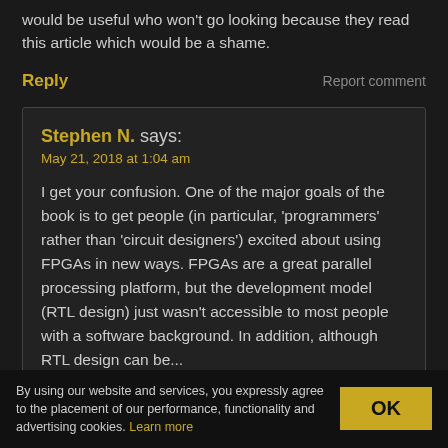would be useful who won't go looking because they read this article which would be a shame.
Reply    Report comment
Stephen N. says:
May 21, 2018 at 1:04 am

I get your confusion. One of the major goals of the book is to get people (in particular, 'programmers' rather than 'circuit designers') excited about using FPGAs in new ways. FPGAs are a great parallel processing platform, but the development model (RTL design) just wasn't accessible to most people with a software background. In addition, although RTL design can be...
By using our website and services, you expressly agree to the placement of our performance, functionality and advertising cookies. Learn more